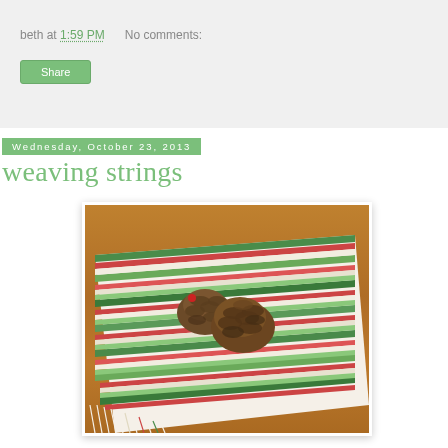beth at 1:59 PM   No comments:
Share
Wednesday, October 23, 2013
weaving strings
[Figure (photo): A hand-woven rag rug with green, red, white and cream stripes displayed on a wooden table, with two pine cones sitting on top of it.]